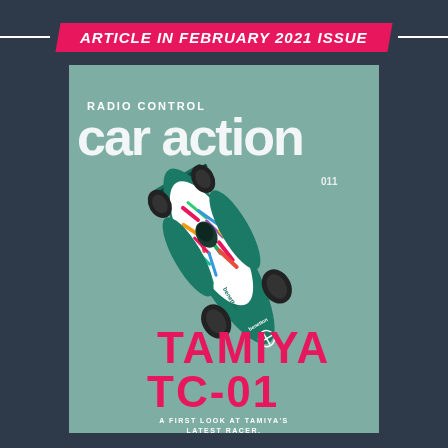ARTICLE IN FEBRUARY 2021 ISSUE
[Figure (photo): Magazine cover of Radio Control Car Action featuring the Tamiya TC-01 Formula 1 RC car with Benetton livery (green with colorful paint streaks), shown from above on a teal background. The cover includes the magazine title 'car action', 'RADIO CONTROL' above it, and text overlays 'TAMIYA TC-01' in pink/magenta and 'A FIRST LOOK AT TAMIYA'S LATEST RACER.' at the bottom.]